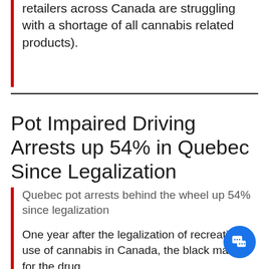retailers across Canada are struggling with a shortage of all cannabis related products).
Pot Impaired Driving Arrests up 54% in Quebec Since Legalization
Quebec pot arrests behind the wheel up 54% since legalization
One year after the legalization of recreational use of cannabis in Canada, the black market for the drug